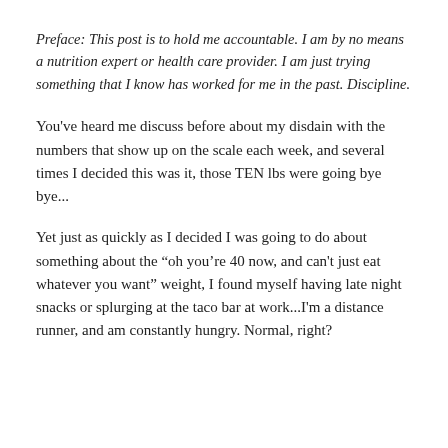Preface: This post is to hold me accountable.  I am by no means a nutrition expert or health care provider.  I am just trying something that I know has worked for me in the past.  Discipline.
You've heard me discuss before about my disdain with the numbers that show up on the scale each week, and several times I decided this was it, those TEN lbs were going bye bye...
Yet just as quickly as I decided I was going to do about something about the “oh you’re 40 now, and can't just eat whatever you want” weight, I found myself having late night snacks or splurging at the taco bar at work...I'm a distance runner, and am constantly hungry.  Normal, right?